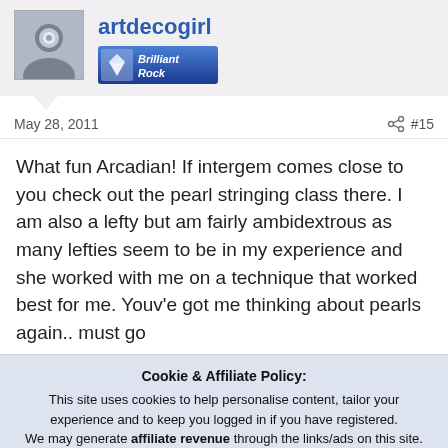[Figure (photo): Avatar photo of artdecogirl showing a charm/bead jewelry piece]
artdecogirl
[Figure (logo): Brilliant Rock badge/logo with diamond graphic]
May 28, 2011
#15
What fun Arcadian! If intergem comes close to you check out the pearl stringing class there. I am also a lefty but am fairly ambidextrous as many lefties seem to be in my experience and she worked with me on a technique that worked best for me. Youv'e got me thinking about pearls again.. must go
Cookie & Affiliate Policy:
This site uses cookies to help personalise content, tailor your experience and to keep you logged in if you have registered.
We may generate affiliate revenue through the links/ads on this site.
We NEVER accept paid reviews and take great pride in providing honest opinions and objective information on products & services.
By continuing to use this site, you are consenting to our use of cookie policy.
Accept
Learn more...